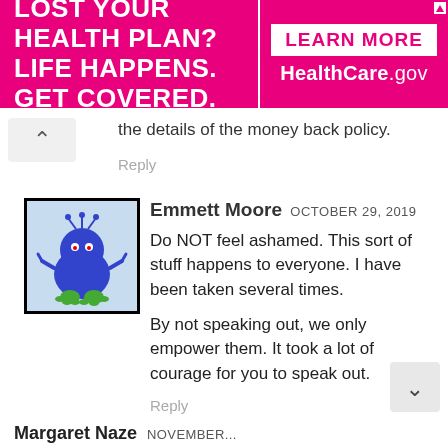[Figure (other): Pink/magenta advertisement banner for HealthCare.gov. Left side shows text 'LOST YOUR HEALTH PLAN? LIFE HAPPENS. GET COVERED.' Right side shows 'LEARN MORE' button and 'HealthCare.gov' text on pink background.]
the details of the money back policy.
Reply
Emmett Moore  OCTOBER 29, 2019
Do NOT feel ashamed. This sort of stuff happens to everyone. I have been taken several times.
By not speaking out, we only empower them. It took a lot of courage for you to speak out.
Reply
Margaret Naze  NOVEMBER...